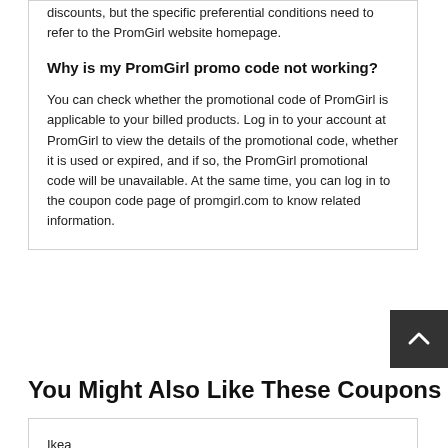discounts, but the specific preferential conditions need to refer to the PromGirl website homepage.
Why is my PromGirl promo code not working?
You can check whether the promotional code of PromGirl is applicable to your billed products. Log in to your account at PromGirl to view the details of the promotional code, whether it is used or expired, and if so, the PromGirl promotional code will be unavailable. At the same time, you can log in to the coupon code page of promgirl.com to know related information.
You Might Also Like These Coupons
Ikea